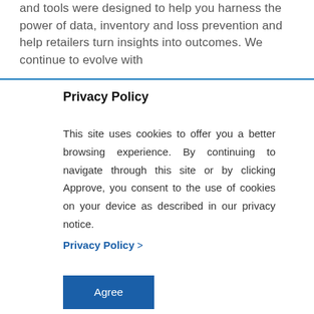and tools were designed to help you harness the power of data, inventory and loss prevention and help retailers turn insights into outcomes. We continue to evolve with
Privacy Policy
This site uses cookies to offer you a better browsing experience. By continuing to navigate through this site or by clicking Approve, you consent to the use of cookies on your device as described in our privacy notice.
Privacy Policy >
Agree